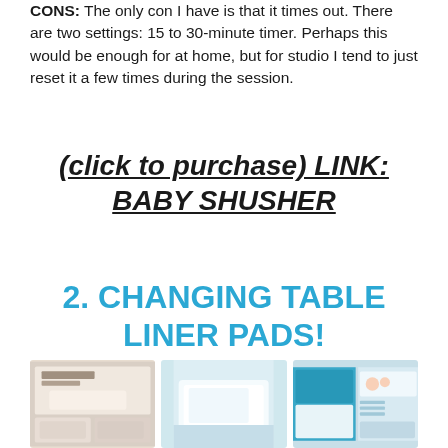CONS: The only con I have is that it times out. There are two settings: 15 to 30-minute timer. Perhaps this would be enough for at home, but for studio I tend to just reset it a few times during the session.
(click to purchase) LINK: BABY SHUSHER
2. CHANGING TABLE LINER PADS!
[Figure (photo): Three product images of changing table liner pads showing the TRULYOU Quilted Soft Changing Pad Liners product packaging and use]